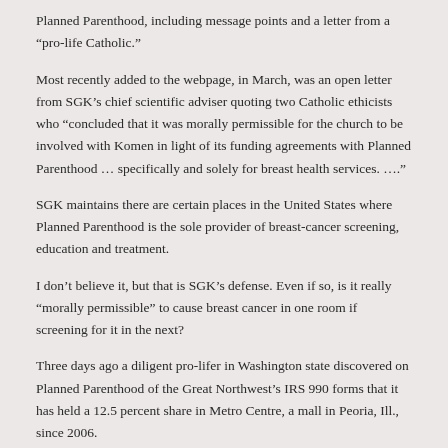Planned Parenthood, including message points and a letter from a “pro-life Catholic.”
Most recently added to the webpage, in March, was an open letter from SGK’s chief scientific adviser quoting two Catholic ethicists who “concluded that it was morally permissible for the church to be involved with Komen in light of its funding agreements with Planned Parenthood … specifically and solely for breast health services. ….”
SGK maintains there are certain places in the United States where Planned Parenthood is the sole provider of breast-cancer screening, education and treatment.
I don’t believe it, but that is SGK’s defense. Even if so, is it really “morally permissible” to cause breast cancer in one room if screening for it in the next?
Three days ago a diligent pro-lifer in Washington state discovered on Planned Parenthood of the Great Northwest’s IRS 990 forms that it has held a 12.5 percent share in Metro Centre, a mall in Peoria, Ill., since 2006.